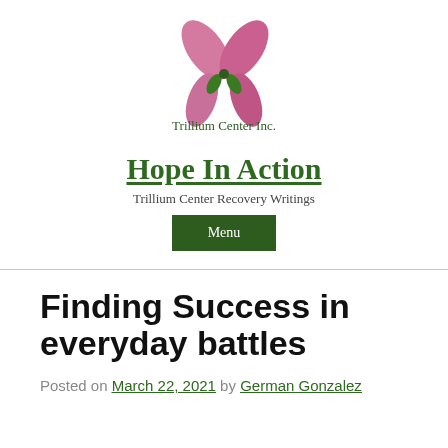[Figure (logo): Trillium Center Inc. logo — pink flower/butterfly petals above and below with small green leaves, and the text 'Trillium Center Inc.' in dark green serif font]
Hope In Action
Trillium Center Recovery Writings
Menu
Finding Success in everyday battles
Posted on March 22, 2021 by German Gonzalez